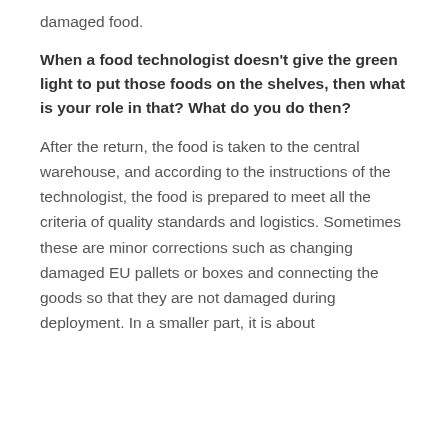damaged food.
When a food technologist doesn't give the green light to put those foods on the shelves, then what is your role in that? What do you do then?
After the return, the food is taken to the central warehouse, and according to the instructions of the technologist, the food is prepared to meet all the criteria of quality standards and logistics. Sometimes these are minor corrections such as changing damaged EU pallets or boxes and connecting the goods so that they are not damaged during deployment. In a smaller part, it is about